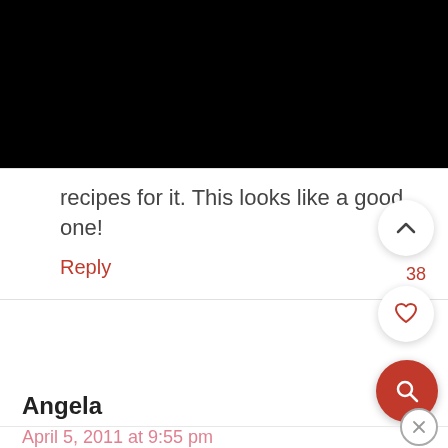[Figure (screenshot): Black image/video area at top of page]
recipes for it. This looks like a good one!
Reply
38
Angela
April 5, 2011 at 9:55 pm